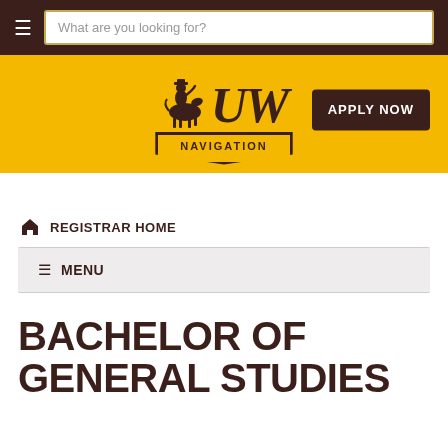What are you looking for?
[Figure (logo): University of Wyoming logo with cowboy on bucking horse, UW text, and NAVIGATION badge below on yellow background]
APPLY NOW
REGISTRAR HOME
≡ MENU
BACHELOR OF GENERAL STUDIES